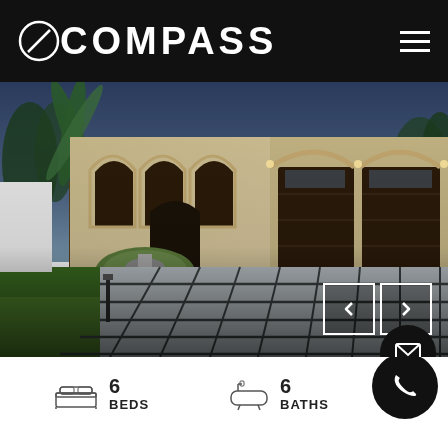[Figure (logo): Compass real estate logo in white on black header bar]
[Figure (photo): Luxury home exterior with large paver driveway, arched entryway, double garage with dark doors, palm tree and landscaping, twilight/dusk lighting]
6 BEDS
6 BATHS